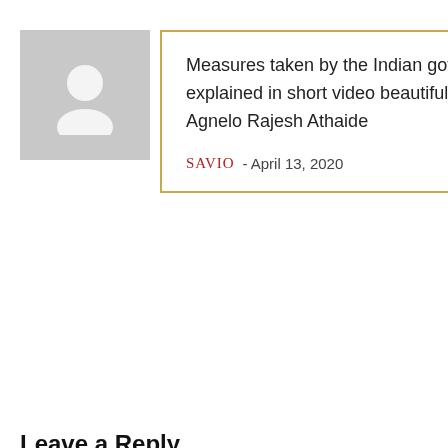[Figure (illustration): Gray placeholder avatar silhouette icon]
Measures taken by the Indian government aptly explained in short video beautifully presented by Mr Agnelo Rajesh Athaide
SAVIO - April 13, 2020   ↩ REPLY
Leave a Reply
Your email address will not be published. Required fields are marked *
Name *
Email *